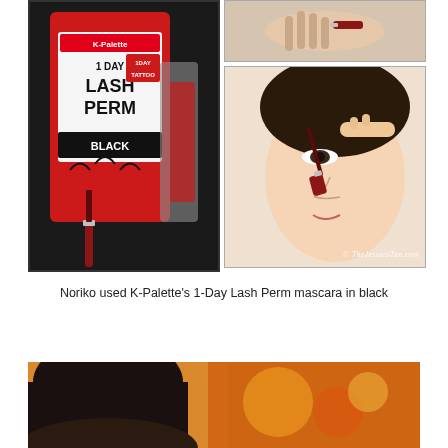[Figure (photo): Left: Close-up photo of K-Palette 1 Day Lash Perm mascara product in red packaging with '1DAY TATTOO BLACK' label and mascara wand. Top right: Close-up of hand holding product near eyebrow. Bottom right: Asian woman applying mascara/eyeliner to eyebrow with K-Palette mascara wand, watermark '© TheJessicaTan.com' visible.]
Noriko used K-Palette's 1-Day Lash Perm mascara in black
[Figure (photo): Partial photo at bottom of page showing a person with dark hair from behind and blurred colorful background (orange/red tones).]